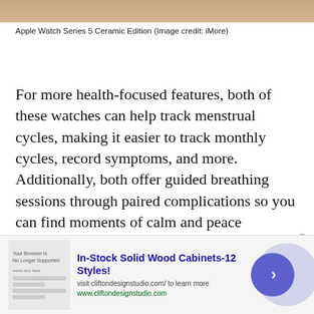[Figure (photo): Partial view of Apple Watch Series 5 Ceramic Edition on a wrist, cropped at top of page]
Apple Watch Series 5 Ceramic Edition (Image credit: iMore)
For more health-focused features, both of these watches can help track menstrual cycles, making it easier to track monthly cycles, record symptoms, and more. Additionally, both offer guided breathing sessions through paired complications so you can find moments of calm and peace throughout your day. Another cool feature that the Apple Watch 5 has over the Versa 2 is that it will tell you when things are getting too loud. The Noise app alerts you when decibels rise to levels that can impact your hearing.
[Figure (screenshot): Advertisement banner for cliftondesignstudio.com: In-Stock Solid Wood Cabinets-12 Styles! with a browser screenshot thumbnail, blue arrow button, and purple circle background element]